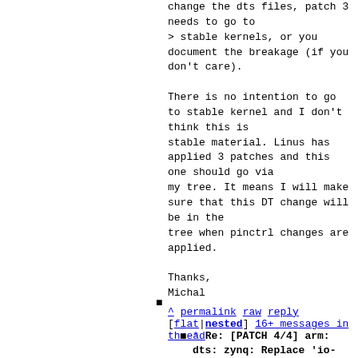change the dts files, patch 3
needs to go to
> stable kernels, or you
document the breakage (if you
don't care).

There is no intention to go
to stable kernel and I don't
think this is
stable material. Linus has
applied 3 patches and this
one should go via
my tree. It means I will make
sure that this DT change will
be in the
tree when pinctrl changes are
applied.

Thanks,
Michal
^ permalink raw reply [flat|nested] 16+ messages in thread
* Re: [PATCH 4/4] arm: dts: zynq: Replace 'io-standard' with 'power-...